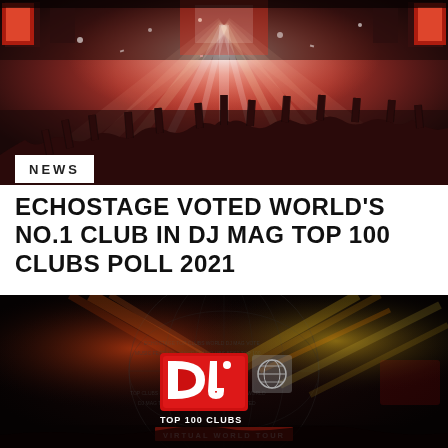[Figure (photo): Concert crowd photo with bright red, pink and white stage lighting beams over a large audience with hands raised]
NEWS
ECHOSTAGE VOTED WORLD'S NO.1 CLUB IN DJ MAG TOP 100 CLUBS POLL 2021
[Figure (logo): DJ Mag Top 100 Clubs Virtual World Tour logo on a dark background with globe graphic made of text]